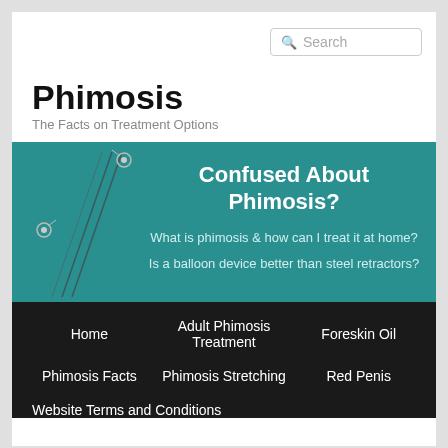Search
Phimosis
The Facts on Treatment Options
[Figure (infographic): Teal banner with decorative medical device illustration on the left side and white text reading 'Confused About Phimosis?' with subtext 'What is phimosis & how can I treat it at home?' and 'Is a balloon device better than steel retractors?']
Home   Adult Phimosis Treatment   Foreskin Oil   Phimosis Facts   Phimosis Stretching   Red Penis   Website Terms and Conditions